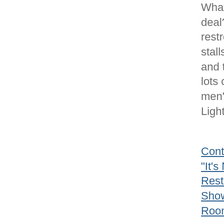What's the big deal? Women's restrooms are all stalls, anyway, and there are lots of stalls in men's rooms.  Lighten up.
Continue reading "It's Not Just Restrooms. It's Showers, College Roommates